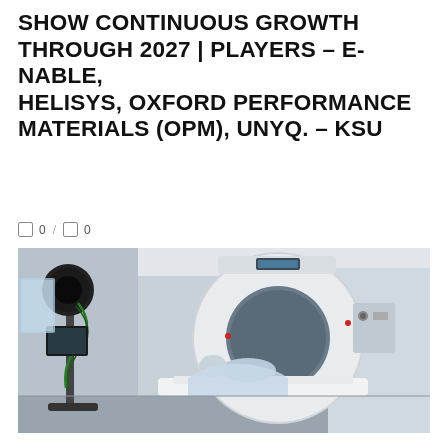SHOW CONTINUOUS GROWTH THROUGH 2027 | PLAYERS – E-NABLE, HELISYS, OXFORD PERFORMANCE MATERIALS (OPM), UNYQ. – KSU
0 / 0
[Figure (photo): A patient lying on an MRI/CT scanner bed being inserted into a large white circular CT/MRI machine in a clinical room. A camera or monitoring equipment on a stand is visible in the foreground on the left side.]